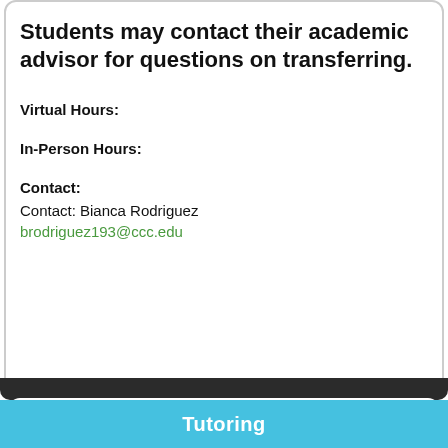Students may contact their academic advisor for questions on transferring.
Virtual Hours:
In-Person Hours:
Contact:
Contact: Bianca Rodriguez
brodriguez193@ccc.edu
Tutoring